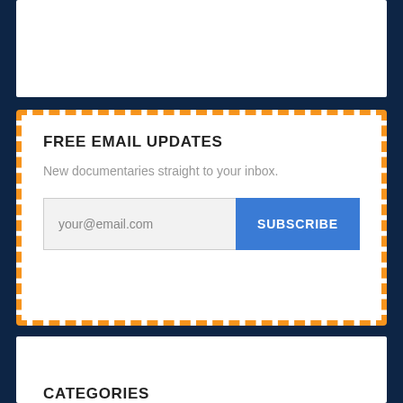FREE EMAIL UPDATES
New documentaries straight to your inbox.
your@email.com
SUBSCRIBE
CATEGORIES
911
History
Activist
Human Rights